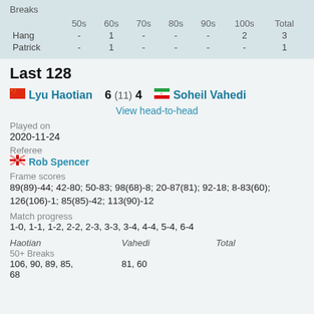Breaks
|  | 50s | 60s | 70s | 80s | 90s | 100s | Total |
| --- | --- | --- | --- | --- | --- | --- | --- |
| Hang | - | 1 | - | - | - | 2 | 3 |
| Patrick | - | 1 | - | - | - | - | 1 |
Last 128
🇨🇳 Lyu Haotian  6 (11) 4  🇮🇷 Soheil Vahedi
View head-to-head
Played on
2020-11-24
Referee
🏴󠁧󠁢󠁥󠁮󠁧󠁿 Rob Spencer
Frame scores
89(89)-44; 42-80; 50-83; 98(68)-8; 20-87(81); 92-18; 8-83(60); 126(106)-1; 85(85)-42; 113(90)-12
Match progress
1-0, 1-1, 1-2, 2-2, 2-3, 3-3, 3-4, 4-4, 5-4, 6-4
| Haotian | Vahedi | Total |
| --- | --- | --- |
| 50+ Breaks |  |  |
| 106, 90, 89, 85, 68 | 81, 60 |  |